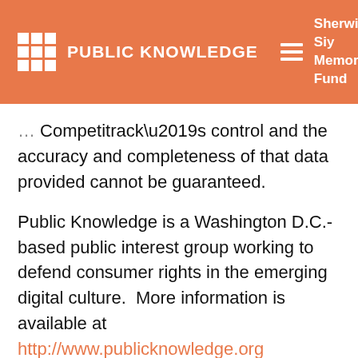PUBLIC KNOWLEDGE | Sherwin Siy Memorial Fund | Donate
Competitrack’s control and the accuracy and completeness of that data provided cannot be guaranteed.
Public Knowledge is a Washington D.C.-based public interest group working to defend consumer rights in the emerging digital culture.  More information is available at http://www.publicknowledge.org